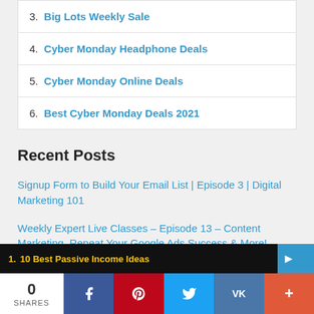3. Big Lots Weekly Sale
4. Cyber Monday Headphone Deals
5. Cyber Monday Online Deals
6. Best Cyber Monday Deals 2021
Recent Posts
Signup Form to Build Your Email List | Episode 3 | Digital Marketing 101
Weekly Expert Live Classes – Episode 13 – Content Marketing, Repeat Your Google Ads Success & More!
Motivational Monday Quote by Audrey Hepburn – Nothing is
1. 10 Best Passive Income Ideas
0 SHARES